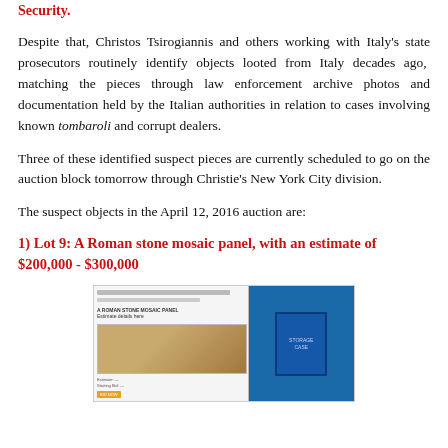Security.
Despite that, Christos Tsirogiannis and others working with Italy's state prosecutors routinely identify objects looted from Italy decades ago, matching the pieces through law enforcement archive photos and documentation held by the Italian authorities in relation to cases involving known tombaroli and corrupt dealers.
Three of these identified suspect pieces are currently scheduled to go on the auction block tomorrow through Christie's New York City division.
The suspect objects in the April 12, 2016 auction are:
1) Lot 9: A Roman stone mosaic panel, with an estimate of $200,000 - $300,000
[Figure (screenshot): Screenshot of Christie's auction listing for a Roman stone mosaic panel alongside a photo of a blue box/storage case]